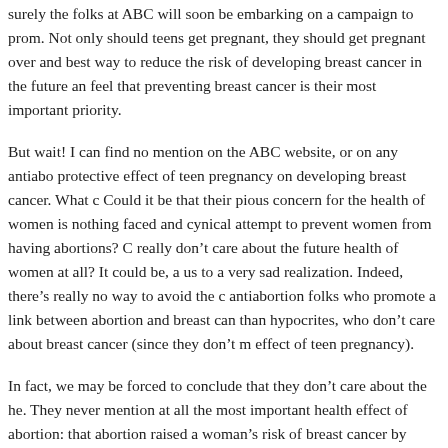surely the folks at ABC will soon be embarking on a campaign to prom. Not only should teens get pregnant, they should get pregnant over and best way to reduce the risk of developing breast cancer in the future an feel that preventing breast cancer is their most important priority.
But wait! I can find no mention on the ABC website, or on any antiabo protective effect of teen pregnancy on developing breast cancer. What Could it be that their pious concern for the health of women is nothing faced and cynical attempt to prevent women from having abortions? C really don't care about the future health of women at all? It could be, a us to a very sad realization. Indeed, there's really no way to avoid the antiabortion folks who promote a link between abortion and breast can than hypocrites, who don't care about breast cancer (since they don't m effect of teen pregnancy).
In fact, we may be forced to conclude that they don't care about the he. They never mention at all the most important health effect of abortion: that abortion raised a woman's risk of breast cancer by 40%, it doesn't carrying a pregnancy to term raises her risk of death by 1500%!